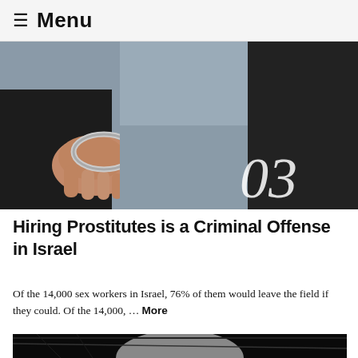≡ Menu
[Figure (photo): Hands in handcuffs with number '03' overlaid in large italic white text on the lower right of the image]
Hiring Prostitutes is a Criminal Offense in Israel
Of the 14,000 sex workers in Israel, 76% of them would leave the field if they could. Of the 14,000, … More
[Figure (photo): Dark abstract image showing dark fabric or mesh with a bright light in the center, partially visible at bottom of page]